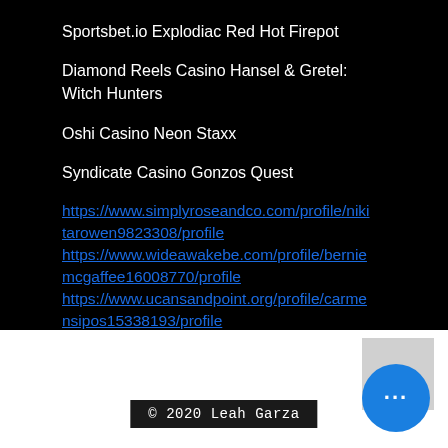Sportsbet.io Explodiac Red Hot Firepot
Diamond Reels Casino Hansel & Gretel: Witch Hunters
Oshi Casino Neon Staxx
Syndicate Casino Gonzos Quest
https://www.simplyroseandco.com/profile/nikitarowen9823308/profile
https://www.wideawakebe.com/profile/berniemcgaffee16008770/profile
https://www.ucansandpoint.org/profile/carmensipos15338193/profile
https://www.supercal.net/profile/woodrowvanamburgh5062574/profile
© 2020 Leah Garza